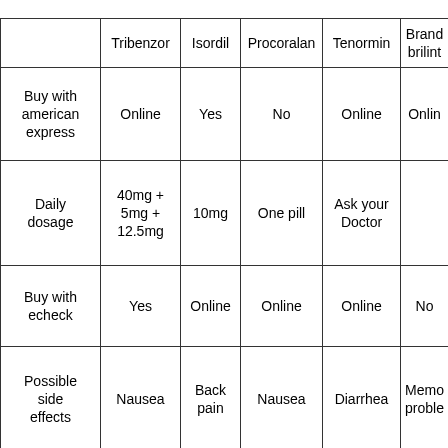|  | Tribenzor | Isordil | Procoralan | Tenormin | Brand brilinta |
| --- | --- | --- | --- | --- | --- |
| Buy with american express | Online | Yes | No | Online | Online |
| Daily dosage | 40mg + 5mg + 12.5mg | 10mg | One pill | Ask your Doctor |  |
| Buy with echeck | Yes | Online | Online | Online | No |
| Possible side effects | Nausea | Back pain | Nausea | Diarrhea | Memory problems |
| Can cause |  | Ask | Ask your | You need | Ask yo |